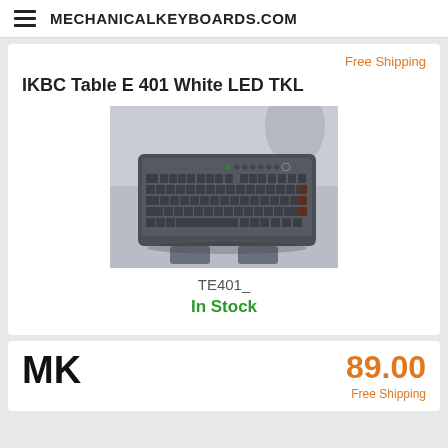MECHANICALKEYBOARDS.COM
Free Shipping
IKBC Table E 401 White LED TKL
[Figure (photo): Photo of a dark gray TKL mechanical keyboard (IKBC Table E 401) on a desk, shot from above at an angle, showing all keys and white LED indicators.]
TE401_
In Stock
MK
89.00
Free Shipping